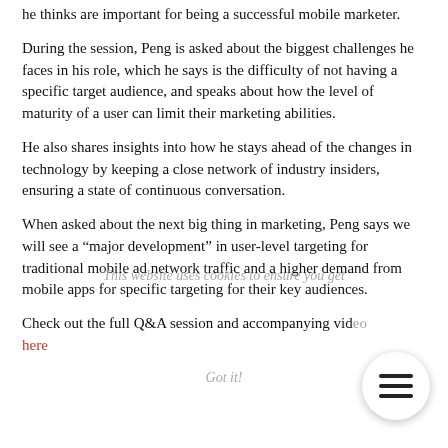he thinks are important for being a successful mobile marketer.
During the session, Peng is asked about the biggest challenges he faces in his role, which he says is the difficulty of not having a specific target audience, and speaks about how the level of maturity of a user can limit their marketing abilities.
He also shares insights into how he stays ahead of the changes in technology by keeping a close network of industry insiders, ensuring a state of continuous conversation.
When asked about the next big thing in marketing, Peng says we will see a “major development” in user-level targeting for traditional mobile ad network traffic and a higher demand from mobile apps for specific targeting for their key audiences.
Check out the full Q&A session and accompanying video here